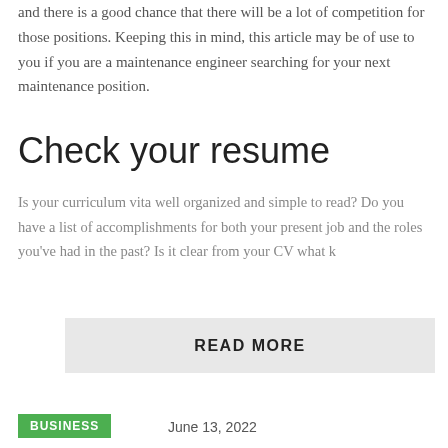and there is a good chance that there will be a lot of competition for those positions. Keeping this in mind, this article may be of use to you if you are a maintenance engineer searching for your next maintenance position.
Check your resume
Is your curriculum vita well organized and simple to read? Do you have a list of accomplishments for both your present job and the roles you've had in the past? Is it clear from your CV what k
READ MORE
BUSINESS
June 13, 2022